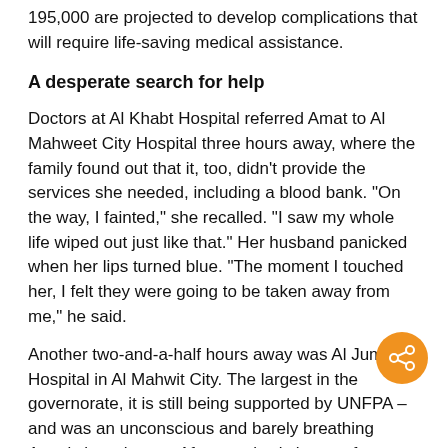195,000 are projected to develop complications that will require life-saving medical assistance.
A desperate search for help
Doctors at Al Khabt Hospital referred Amat to Al Mahweet City Hospital three hours away, where the family found out that it, too, didn't provide the services she needed, including a blood bank. "On the way, I fainted," she recalled. "I saw my whole life wiped out just like that." Her husband panicked when her lips turned blue. "The moment I touched her, I felt they were going to be taken away from me," he said.
Another two-and-a-half hours away was Al Jumhori Hospital in Al Mahwit City. The largest in the governorate, it is still being supported by UNFPA – and was an unconscious and barely breathing Amat's last chance. After nearly six hours of travelling due to poor road infrastructure, mother and baby survived.
"It's simple," said midwife Afrah, who helped deliver Amat's son. "When services are readily available, we can